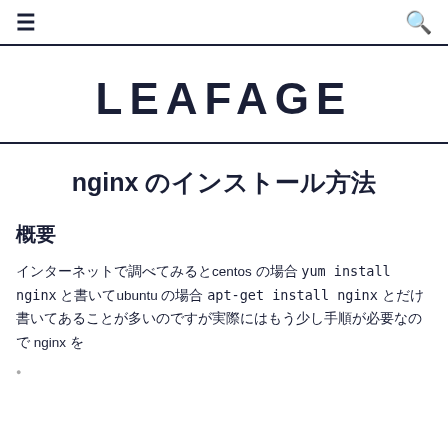≡  🔍
LEAFAGE
nginx のインストール方法
概要
インターネットで調べてみるとcentos の場合 yum install nginx と書いてubuntu の場合 apt-get install nginx とだけ書いてあることが多いのですが実際にはもう少し手順が必要なので nginx を